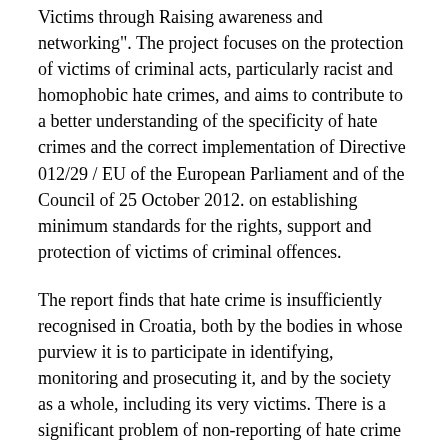Victims through Raising awareness and networking". The project focuses on the protection of victims of criminal acts, particularly racist and homophobic hate crimes, and aims to contribute to a better understanding of the specificity of hate crimes and the correct implementation of Directive 012/29 / EU of the European Parliament and of the Council of 25 October 2012. on establishing minimum standards for the rights, support and protection of victims of criminal offences.
The report finds that hate crime is insufficiently recognised in Croatia, both by the bodies in whose purview it is to participate in identifying, monitoring and prosecuting it, and by the society as a whole, including its very victims. There is a significant problem of non-reporting of hate crime because the victims are insufficiently informed that it is a criminal offence, or due to fear of retaliation by the perpetrator and lack of trust in the efficiency of the system, that is, due to fear that the crime will not be adequately